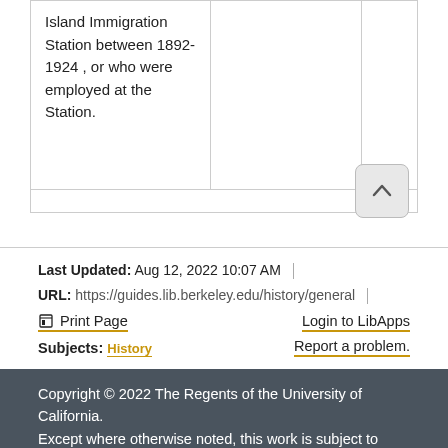| Island Immigration Station between 1892-1924 , or who were employed at the Station. |  |  |
Last Updated: Aug 12, 2022 10:07 AM | URL: https://guides.lib.berkeley.edu/history/general
Print Page | Login to LibApps
Subjects: History | Report a problem.
Copyright © 2022 The Regents of the University of California.
Except where otherwise noted, this work is subject to